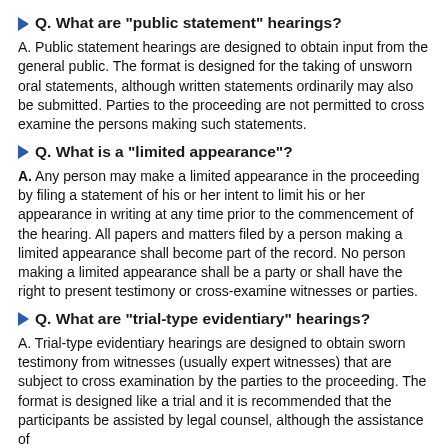Q. What are "public statement" hearings?
A. Public statement hearings are designed to obtain input from the general public. The format is designed for the taking of unsworn oral statements, although written statements ordinarily may also be submitted. Parties to the proceeding are not permitted to cross examine the persons making such statements.
Q. What is a "limited appearance"?
A. Any person may make a limited appearance in the proceeding by filing a statement of his or her intent to limit his or her appearance in writing at any time prior to the commencement of the hearing. All papers and matters filed by a person making a limited appearance shall become part of the record. No person making a limited appearance shall be a party or shall have the right to present testimony or cross-examine witnesses or parties.
Q. What are "trial-type evidentiary" hearings?
A. Trial-type evidentiary hearings are designed to obtain sworn testimony from witnesses (usually expert witnesses) that are subject to cross examination by the parties to the proceeding. The format is designed like a trial and it is recommended that the participants be assisted by legal counsel, although the assistance of